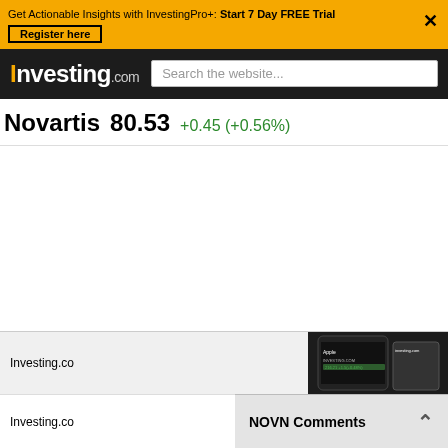Get Actionable Insights with InvestingPro+: Start 7 Day FREE Trial  Register here
Investing.com  Search the website...
Novartis  80.53  +0.45 (+0.56%)
[Figure (screenshot): Blank white content area on Investing.com Novartis stock page]
[Figure (screenshot): Partial view of Investing.com mobile app on phone screen at bottom right]
Investing.co
NOVN Comments